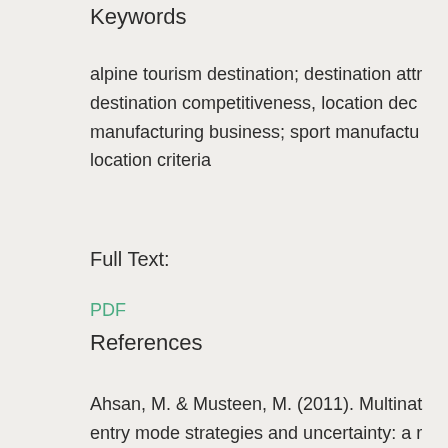Keywords
alpine tourism destination; destination attr... destination competitiveness, location dec... manufacturing business; sport manufactu... location criteria
Full Text:
PDF
References
Ahsan, M. & Musteen, M. (2011). Multinat... entry mode strategies and uncertainty: a ... extension. International Journal of Manag... (13), 376–392.